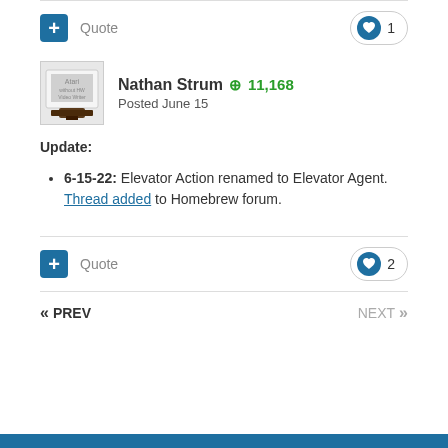Quote | 1 like
Nathan Strum +11,168
Posted June 15
Update:
6-15-22: Elevator Action renamed to Elevator Agent. Thread added to Homebrew forum.
Quote | 2 likes
<< PREV | NEXT >>